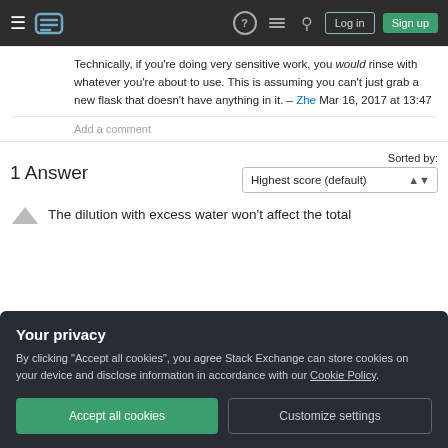Stack Exchange navigation bar with hamburger, logo, help, chat, search, Log in, Sign up
Technically, if you're doing very sensitive work, you would rinse with whatever you're about to use. This is assuming you can't just grab a new flask that doesn't have anything in it. – Zhe Mar 16, 2017 at 13:47
Add a comment
1 Answer
Sorted by: Highest score (default)
The dilution with excess water won't affect the total
Your privacy
By clicking "Accept all cookies", you agree Stack Exchange can store cookies on your device and disclose information in accordance with our Cookie Policy.
Accept all cookies   Customize settings